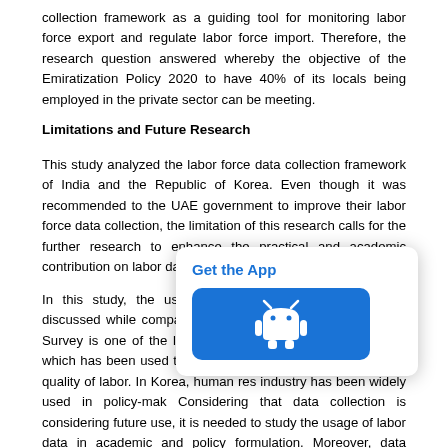collection framework as a guiding tool for monitoring labor force export and regulate labor force import. Therefore, the research question answered whereby the objective of the Emiratization Policy 2020 to have 40% of its locals being employed in the private sector can be meeting.
Limitations and Future Research
This study analyzed the labor force data collection framework of India and the Republic of Korea. Even though it was recommended to the UAE government to improve their labor force data collection, the limitation of this research calls for the further research to enhance the practical and academic contribution on labor data management framework.
In this study, the usage of the collected data was not discussed while comparing the data collection methods. The Survey is one of the largest research projects collected series, which has been used to estimate a country improvement and quality of labor. In Korea, human resource industry has been widely used in policy-making. Considering that data collection is considering future use, it is needed to study the usage of labor data in academic and policy formulation. Moreover, data characteristics comparison among
[Figure (other): Get the App popup with Android logo button]